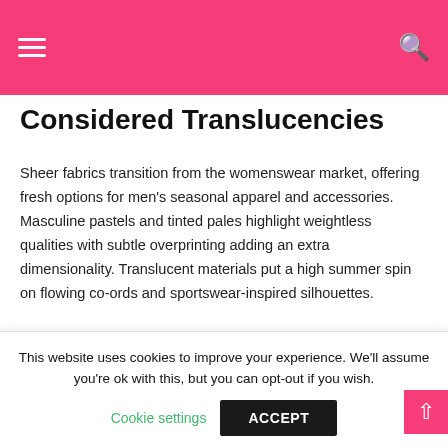Navigation header with hamburger menu and search icon
Considered Translucencies
Sheer fabrics transition from the womenswear market, offering fresh options for men's seasonal apparel and accessories. Masculine pastels and tinted pales highlight weightless qualities with subtle overprinting adding an extra dimensionality. Translucent materials put a high summer spin on flowing co-ords and sportswear-inspired silhouettes.
[Figure (photo): Strip of three fashion runway photos showing male models wearing sheer/translucent garments]
This website uses cookies to improve your experience. We'll assume you're ok with this, but you can opt-out if you wish. Cookie settings | ACCEPT